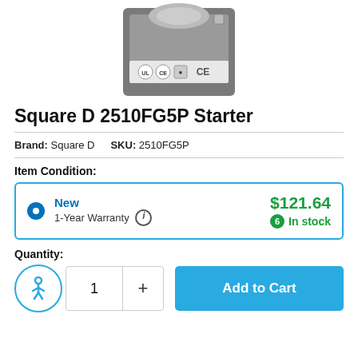[Figure (photo): Partial view of a Square D 2510FG5P industrial starter device, gray metal box with certification labels (UL, CE, etc.) visible on the front panel.]
Square D 2510FG5P Starter
Brand: Square D   SKU: 2510FG5P
Item Condition:
New
1-Year Warranty
$121.64
6 In stock
Quantity:
1
+
Add to Cart